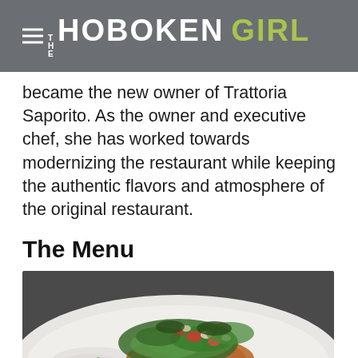THE HOBOKEN GIRL
became the new owner of Trattoria Saporito. As the owner and executive chef, she has worked towards modernizing the restaurant while keeping the authentic flavors and atmosphere of the original restaurant.
The Menu
[Figure (photo): A white plate with a piece of cooked meat or fish topped with a fresh salad of mixed greens, tomatoes, and other garnishes, alongside a white sauce, viewed from above on a dark surface.]